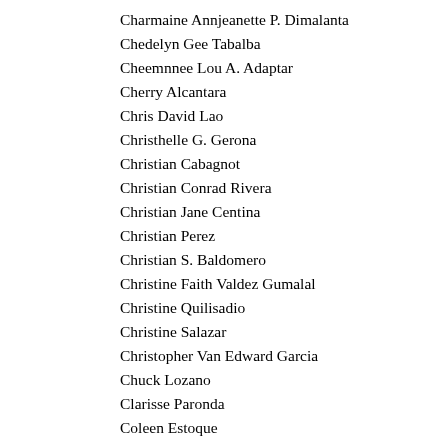Charmaine Annjeanette P. Dimalanta
Chedelyn Gee Tabalba
Cheemnnee Lou A. Adaptar
Cherry Alcantara
Chris David Lao
Christhelle G. Gerona
Christian Cabagnot
Christian Conrad Rivera
Christian Jane Centina
Christian Perez
Christian S. Baldomero
Christine Faith Valdez Gumalal
Christine Quilisadio
Christine Salazar
Christopher Van Edward Garcia
Chuck Lozano
Clarisse Paronda
Coleen Estoque